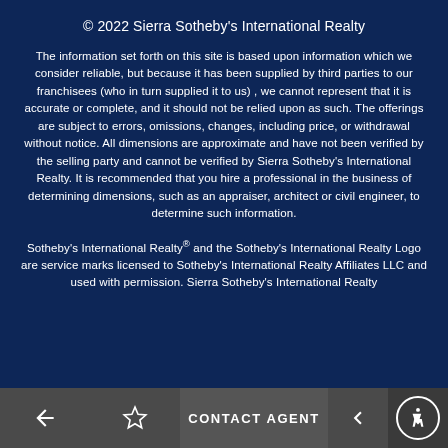© 2022 Sierra Sotheby's International Realty
The information set forth on this site is based upon information which we consider reliable, but because it has been supplied by third parties to our franchisees (who in turn supplied it to us) , we cannot represent that it is accurate or complete, and it should not be relied upon as such. The offerings are subject to errors, omissions, changes, including price, or withdrawal without notice. All dimensions are approximate and have not been verified by the selling party and cannot be verified by Sierra Sotheby's International Realty. It is recommended that you hire a professional in the business of determining dimensions, such as an appraiser, architect or civil engineer, to determine such information.
Sotheby's International Realty® and the Sotheby's International Realty Logo are service marks licensed to Sotheby's International Realty Affiliates LLC and used with permission. Sierra Sotheby's International Realty
CONTACT AGENT